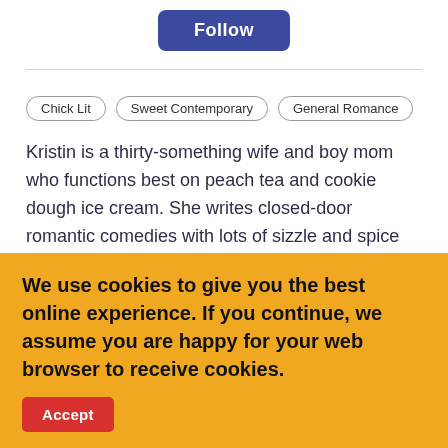[Figure (other): A blue rounded rectangle 'Follow' button centered near the top of the page]
Chick Lit
Sweet Contemporary
General Romance
Kristin is a thirty-something wife and boy mom who functions best on peach tea and cookie dough ice cream. She writes closed-door romantic comedies with lots of sizzle and spice but no explicit on-page content. A desert dweller, she always has her eye on the next trip to a beach somewhere--and if she can't travel there in person, then you'd better believe she's going to write
We use cookies to give you the best online experience. If you continue, we assume you are happy for your web browser to receive cookies.